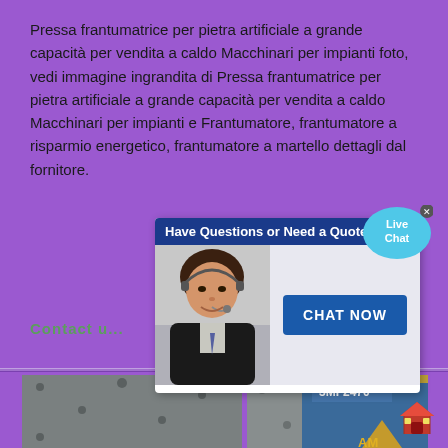Pressa frantumatrice per pietra artificiale a grande capacità per vendita a caldo Macchinari per impianti foto, vedi immagine ingrandita di Pressa frantumatrice per pietra artificiale a grande capacità per vendita a caldo Macchinari per impianti e Frantumatore, frantumatore a risparmio energetico, frantumatore a martello dettagli dal fornitore.
Contact u...
[Figure (screenshot): Live chat popup with a customer service representative wearing a headset, a 'Have Questions or Need a Quote?' header bar, a CHAT NOW button, and a Live Chat speech bubble in the top right corner.]
[Figure (photo): Industrial machinery photo showing large grey metal panels with bolt holes (crusher press machine parts), with a blue industrial building visible and an AM logo in the foreground.]